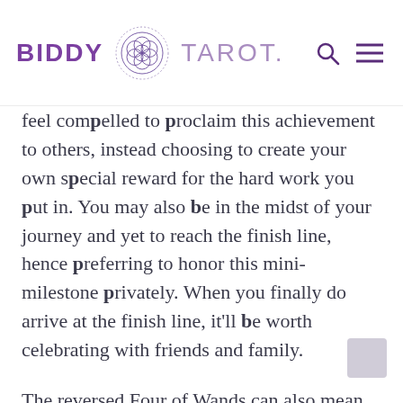BIDDY TAROT.
feel compelled to proclaim this achievement to others, instead choosing to create your own special reward for the hard work you put in. You may also be in the midst of your journey and yet to reach the finish line, hence preferring to honor this mini-milestone privately. When you finally do arrive at the finish line, it'll be worth celebrating with friends and family.
The reversed Four of Wands can also mean that you have achieved a level of inner harmony and stability. If you doubted yourself in the past or struggled with self-acceptance or